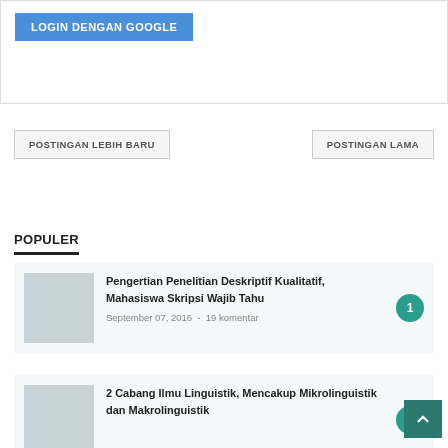[Figure (screenshot): Login dengan Google button in blue]
POSTINGAN LEBIH BARU
POSTINGAN LAMA
POPULER
Pengertian Penelitian Deskriptif Kualitatif, Mahasiswa Skripsi Wajib Tahu
September 07, 2016  -  19 komentar
2 Cabang Ilmu Linguistik, Mencakup Mikrolinguistik dan Makrolinguistik